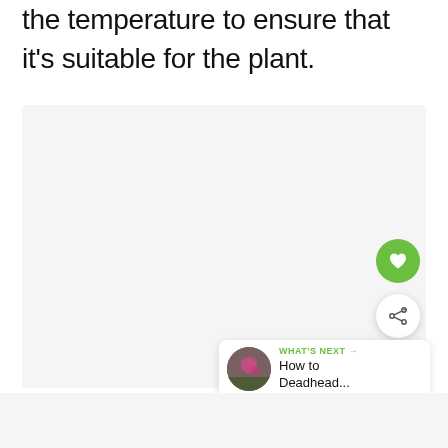the temperature to ensure that it's suitable for the plant.
[Figure (photo): Large light gray placeholder image area for a plant-related photo]
[Figure (other): Floating green heart/like button (FAB)]
[Figure (other): Floating white share button (FAB) with share icon]
[Figure (other): What's Next card showing a flower thumbnail with text 'WHAT'S NEXT → How to Deadhead...']